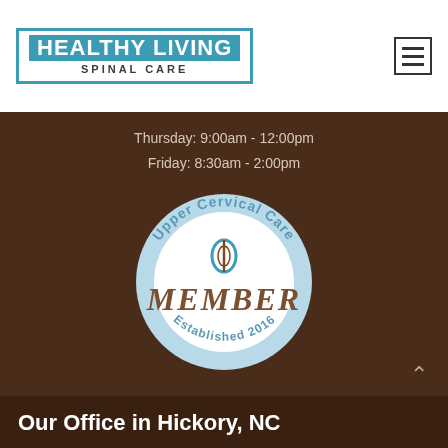[Figure (logo): Healthy Living Spinal Care logo with teal border and text]
Thursday: 9:00am - 12:00pm
Friday: 8:30am - 2:00pm
[Figure (logo): Upper Cervical Care Member badge, circular seal with 'MEMBER' text and 'Established 2016']
Our Office in Hickory, NC